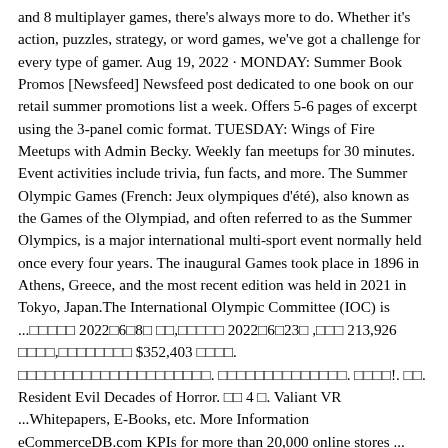and 8 multiplayer games, there's always more to do. Whether it's action, puzzles, strategy, or word games, we've got a challenge for every type of gamer. Aug 19, 2022 · MONDAY: Summer Book Promos [Newsfeed] Newsfeed post dedicated to one book on our retail summer promotions list a week. Offers 5-6 pages of excerpt using the 3-panel comic format. TUESDAY: Wings of Fire Meetups with Admin Becky. Weekly fan meetups for 30 minutes. Event activities include trivia, fun facts, and more. The Summer Olympic Games (French: Jeux olympiques d'été), also known as the Games of the Olympiad, and often referred to as the Summer Olympics, is a major international multi-sport event normally held once every four years. The inaugural Games took place in 1896 in Athens, Greece, and the most recent edition was held in 2021 in Tokyo, Japan.The International Olympic Committee (IOC) is ...□□□□□ 2022□6□8□ □□,□□□□□ 2022□6□23□ ,□□□ 213,926 □□□□,□□□□□□□□ $352,403 □□□□. □□□□□□□□□□□□□□□□□□□□□. □□□□□□□□□□□□□□. □□□□!. □□. Resident Evil Decades of Horror. □□ 4 □. Valiant VR ...Whitepapers, E-Books, etc. More Information eCommerceDB.com KPIs for more than 20,000 online stores ... with more than half of the world tuning in to watch the four Summer Games between 2004 and 2016.□□□□□ 2022□6□8□ □□,□□□□□ 2022□6□23□ ,□□□ 213,926 □□□□,□□□□□□□□ $352,403 □□□□. □□□□□□□□□□□□□□□□□□□□□. □□□□□□□□□□□□□□. □□□□!. □□. Resident Evil Decades of Horror. □□ 4 □. Valiant VR ...The Olympic Games include the Games of the Olympiad (i.e. the Summer Games) and the Olympic Winter Games. The first edition of the modern Summer Games